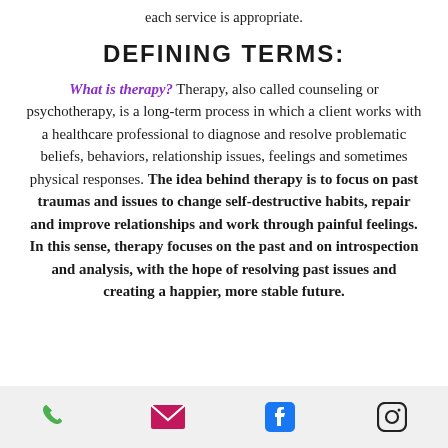each service is appropriate.
DEFINING TERMS:
What is therapy? Therapy, also called counseling or psychotherapy, is a long-term process in which a client works with a healthcare professional to diagnose and resolve problematic beliefs, behaviors, relationship issues, feelings and sometimes physical responses. The idea behind therapy is to focus on past traumas and issues to change self-destructive habits, repair and improve relationships and work through painful feelings. In this sense, therapy focuses on the past and on introspection and analysis, with the hope of resolving past issues and creating a happier, more stable future.
[phone] [email] [facebook] [instagram]